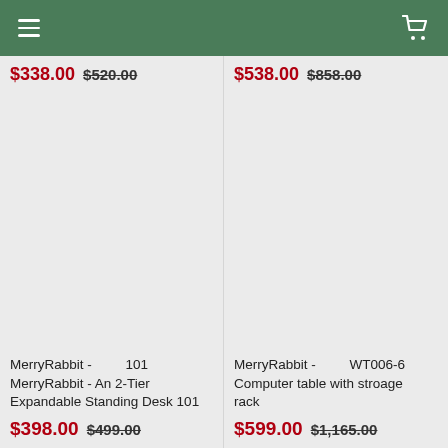[Figure (screenshot): Green navigation header bar with hamburger menu icon on left and shopping cart icon on right]
$338.00 $520.00
$538.00 $858.00
MerryRabbit - 101 MerryRabbit - An 2-Tier Expandable Standing Desk 101
$398.00 $499.00
MerryRabbit - WT006-6 Computer table with stroage rack
$599.00 $1,165.00